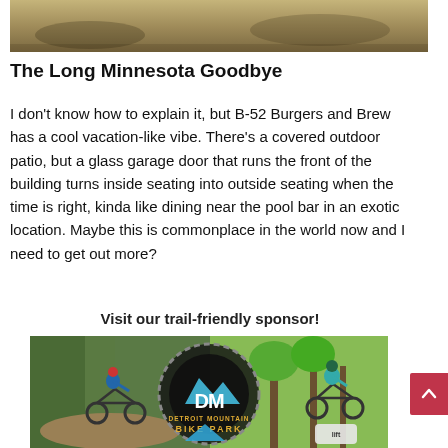[Figure (photo): Top portion of a trail/dirt path photo, showing brown dirt and shadows]
The Long Minnesota Goodbye
I don't know how to explain it, but B-52 Burgers and Brew has a cool vacation-like vibe. There's a covered outdoor patio, but a glass garage door that runs the front of the building turns inside seating into outside seating when the time is right, kinda like dining near the pool bar in an exotic location. Maybe this is commonplace in the world now and I need to get out more?
Visit our trail-friendly sponsor!
[Figure (photo): Detroit Mountain Bike Park advertisement showing two mountain bikers on trails with the Detroit Mountain Bike Park logo in the center featuring a gear/sprocket design with mountain bike imagery]